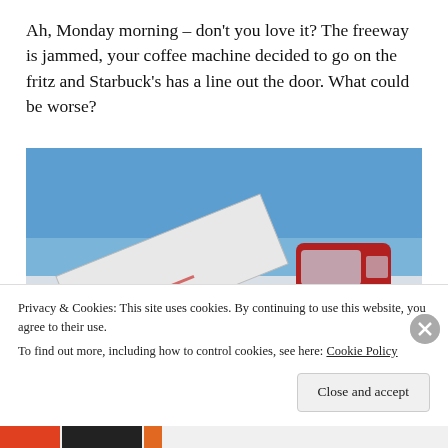Ah, Monday morning – don't you love it? The freeway is jammed, your coffee machine decided to go on the fritz and Starbuck's has a line out the door. What could be worse?
[Figure (photo): A jackknifed red semi-truck with a white trailer on a road in winter conditions, with snow on the ground and a clear blue sky. A person in an orange vest is visible near the truck.]
Privacy & Cookies: This site uses cookies. By continuing to use this website, you agree to their use.
To find out more, including how to control cookies, see here: Cookie Policy